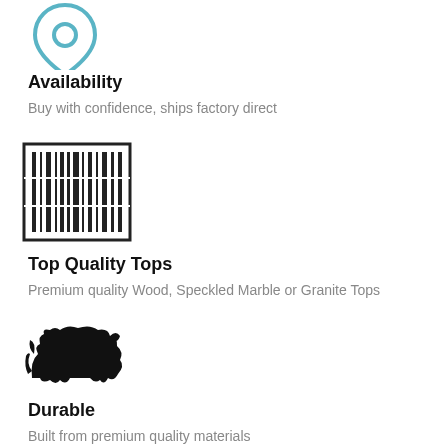[Figure (illustration): Teal/blue location pin icon (partial, top portion visible)]
Availability
Buy with confidence, ships factory direct
[Figure (illustration): Black barcode / data matrix icon]
Top Quality Tops
Premium quality Wood, Speckled Marble or Granite Tops
[Figure (illustration): Black bull/charging bull silhouette icon]
Durable
Built from premium quality materials